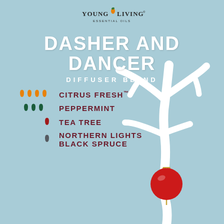[Figure (logo): Young Living Essential Oils logo with orange droplet between 'Young' and 'Living' text]
DASHER AND DANCER
DIFFUSER BLEND
4 drops CITRUS FRESH™
3 drops PEPPERMINT
1 drop TEA TREE
1 drop NORTHERN LIGHTS BLACK SPRUCE
[Figure (illustration): White reindeer antlers with a red Christmas ornament ball hanging from them on a light blue background]